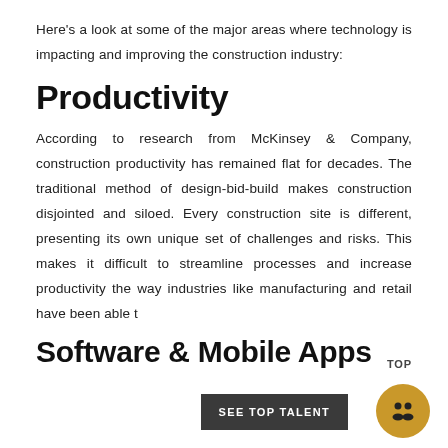Here's a look at some of the major areas where technology is impacting and improving the construction industry:
Productivity
According to research from McKinsey & Company, construction productivity has remained flat for decades. The traditional method of design-bid-build makes construction disjointed and siloed. Every construction site is different, presenting its own unique set of challenges and risks. This makes it difficult to streamline processes and increase productivity the way industries like manufacturing and retail have been able to.
Software & Mobile Apps